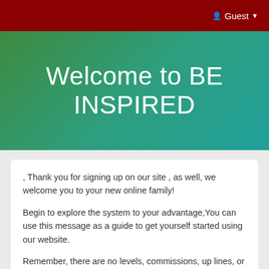Guest
Welcome to BE INSPIRED
, Thank you for signing up on our site , as well, we welcome you to your new online family!
Begin to explore the system to your advantage,You can use this message as a guide to get yourself started using our website.
Remember, there are no levels, commissions, up lines, or down lines here.